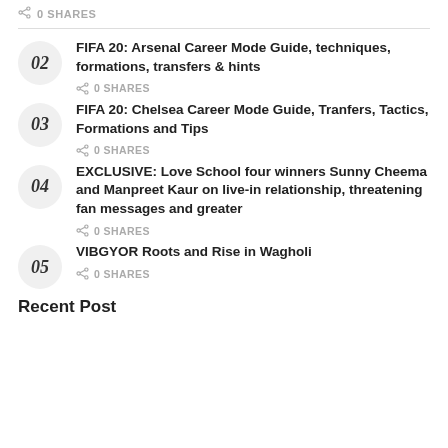0 SHARES
FIFA 20: Arsenal Career Mode Guide, techniques, formations, transfers & hints
0 SHARES
FIFA 20: Chelsea Career Mode Guide, Tranfers, Tactics, Formations and Tips
0 SHARES
EXCLUSIVE: Love School four winners Sunny Cheema and Manpreet Kaur on live-in relationship, threatening fan messages and greater
0 SHARES
VIBGYOR Roots and Rise in Wagholi
0 SHARES
Recent Post